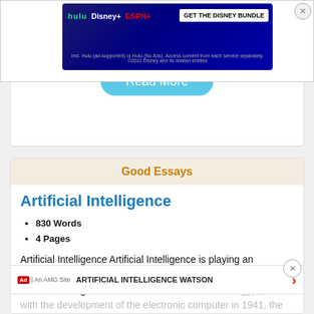[Figure (screenshot): Disney Bundle advertisement banner with Hulu, Disney+, ESPN+ logos and 'GET THE DISNEY BUNDLE' call to action button]
Read More
Good Essays
Artificial Intelligence
830 Words
4 Pages
Artificial Intelligence Artificial Intelligence is playing an important role in today's world and in the future. "Evidence of Artificial Intelligence folklore can be trace back to Egypt, but with the development of the electronic computer in 1941, the technology finally became available to demonstrate machine intelligence. Its short modern history, advancements in the field of AI have been slower than...
ARTIFICIAL INTELLIGENCE WATSON